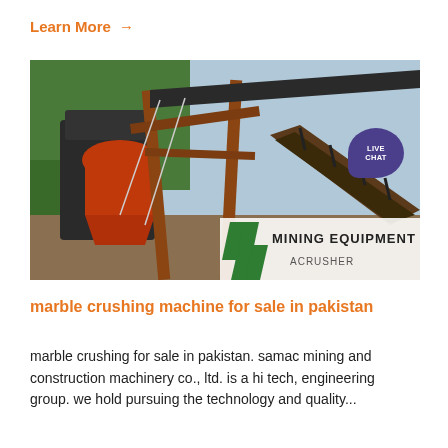Learn More →
[Figure (photo): Industrial mining/crushing equipment on an outdoor site with a large cone crusher, conveyor belts, and structural steel framework. Bottom-right corner shows 'MINING EQUIPMENT ACRUSHER' branding with green chevron logo. A 'LIVE CHAT' bubble is overlaid in the top-right corner.]
marble crushing machine for sale in pakistan
marble crushing for sale in pakistan. samac mining and construction machinery co., ltd. is a hi tech, engineering group. we hold pursuing the technology and quality...